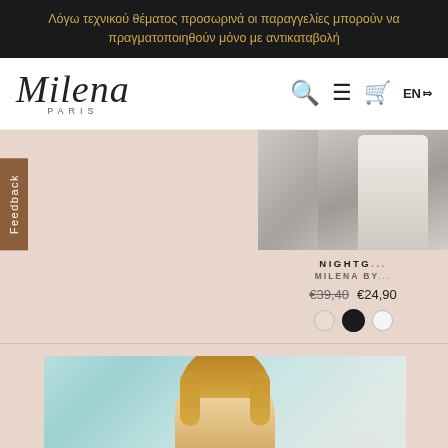Λόγω τεχνικού θέματος προσωρινά οι παραγγελίες μπορούν να πραγματοποιηθούν μόνο με αντικαταβολή
[Figure (logo): Milena Paris logo in italic script with PARIS text below]
[Figure (screenshot): E-commerce product listing page showing a nightgown product with price €39,40 crossed out and sale price €24,90, with color swatches (cream, black, white), and a bottom section showing a woman model photo]
Feedback
NIGHTG...
MILENA BY...
€39,40 €24,90